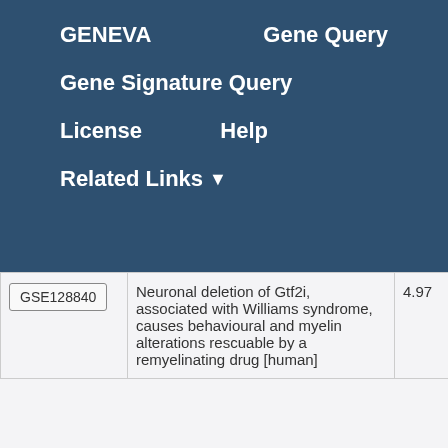GENEVA   Gene Query
Gene Signature Query
License   Help
Related Links ▼
|  | Description | Score |
| --- | --- | --- |
| GSE128840 | Neuronal deletion of Gtf2i, associated with Williams syndrome, causes behavioural and myelin alterations rescuable by a remyelinating drug [human] | 4.97 |